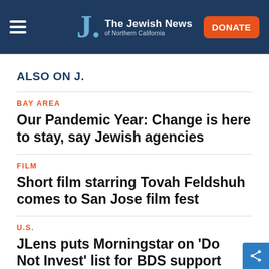The Jewish News of Northern California
ALSO ON J.
BAY AREA
Our Pandemic Year: Change is here to stay, say Jewish agencies
FILM
Short film starring Tovah Feldshuh comes to San Jose film fest
U.S.
JLens puts Morningstar on 'Do Not Invest' list for BDS support